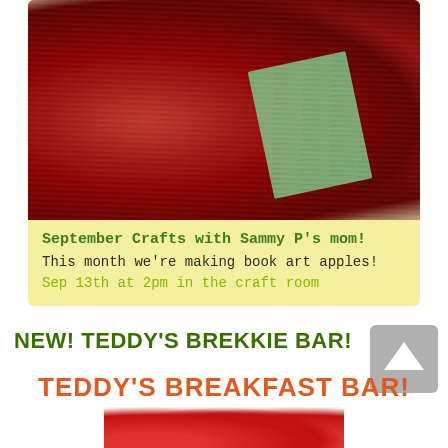[Figure (photo): Photo of book art apples made from rolled/folded book pages in red and white, with a green bookmark visible, placed on a wooden surface]
September Crafts with Sammy P's mom!
This month we're making book art apples!
Sep 13th at 2pm in the craft room
NEW! TEDDY'S BREKKIE BAR!
[Figure (photo): Graphic showing TEDDY'S BREAKFAST BAR! text in red/orange with strawberries photo below]